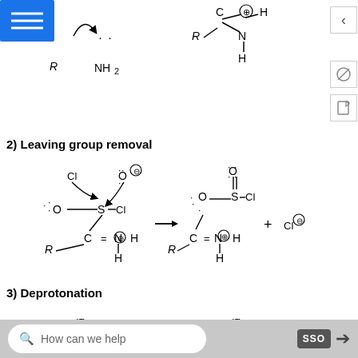[Figure (chemistry-diagram): Top partial: nucleophilic addition showing amine attacking carbonyl carbon, forming iminium ion (R-C=N+(H)-H with C bearing H). Left side shows R-NH2 with arrow, right side shows iminium structure.]
2) Leaving group removal
[Figure (chemistry-diagram): Reaction mechanism: Left structure shows Cl, O^- attacking S center with lone pairs on O and Cl substituents connected to C=N+(H)-H (R group). Arrow points right to product showing O=S(-O-C(=N+(H)H)(R))-Cl structure, plus Cl^- ion.]
3) Deprotonation
[Figure (chemistry-diagram): Bottom partial: beginning of deprotonation step showing oxygen lone pairs on both left and right structures.]
How can we help   SSO